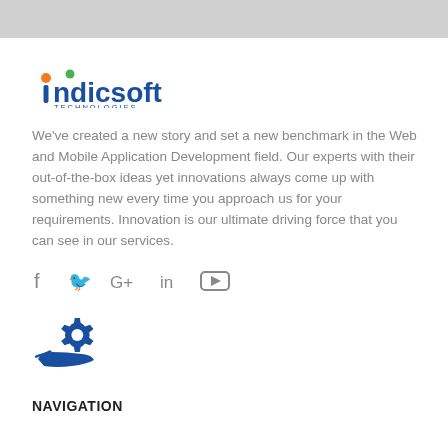[Figure (logo): Indicsoft Technologies logo with blue text 'ndicsoft', orange dot on the 'i', and green dot, with 'TECHNOLOGIES' in small blue letters below]
We've created a new story and set a new benchmark in the Web and Mobile Application Development field. Our experts with their out-of-the-box ideas yet innovations always come up with something new every time you approach us for your requirements. Innovation is our ultimate driving force that you can see in our services.
[Figure (illustration): Social media icons: f (Facebook), bird (Twitter), G+ (Google Plus), in (LinkedIn), rectangle play button (YouTube)]
[Figure (illustration): Blue icon of a hand holding a gear/cog, representing technical services]
NAVIGATION